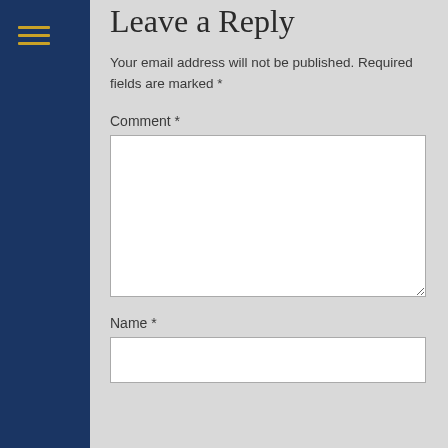[Figure (other): Hamburger menu icon with three horizontal gold/yellow lines on dark navy blue background]
Leave a Reply
Your email address will not be published. Required fields are marked *
Comment *
[Figure (other): Empty comment textarea input box]
Name *
[Figure (other): Empty name text input box]